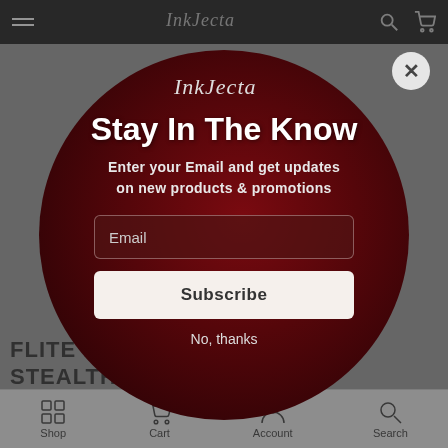InkJecta navigation bar with hamburger menu, logo, search and cart icons
[Figure (screenshot): Mobile e-commerce website screenshot showing InkJecta tattoo machine shop. Background shows product page for FLITE NANO ELITE BLACK STEALTH MACHINE partially visible behind a modal popup.]
Stay In The Know
Enter your Email and get updates on new products & promotions
Email
Subscribe
No, thanks
FLITE NANO ELITE BLACK STEALTH MA___
Shop  Cart  Account  Search